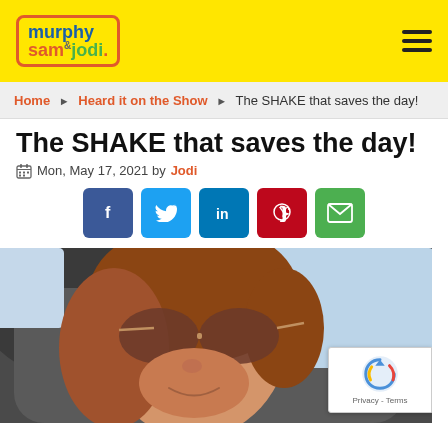[Figure (logo): Murphy Sam & Jodi radio show logo in a rounded orange border box on yellow background]
Home ▶ Heard it on the Show ▶ The SHAKE that saves the day!
The SHAKE that saves the day!
Mon, May 17, 2021 by Jodi
[Figure (infographic): Social sharing buttons: Facebook (blue), Twitter (light blue), LinkedIn (dark blue), Pinterest (red), Email (green)]
[Figure (photo): Woman with long reddish hair wearing large sunglasses, taking a selfie in a car. She is smiling. A reCAPTCHA Privacy - Terms badge is overlaid in the bottom right corner.]